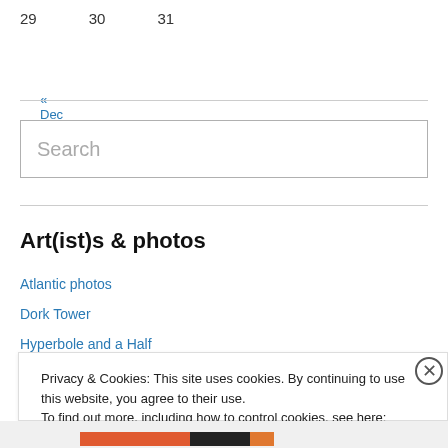29   30   31
« Dec
Search
Art(ist)s & photos
Atlantic photos
Dork Tower
Hyperbole and a Half
Privacy & Cookies: This site uses cookies. By continuing to use this website, you agree to their use.
To find out more, including how to control cookies, see here: Cookie Policy
Close and accept